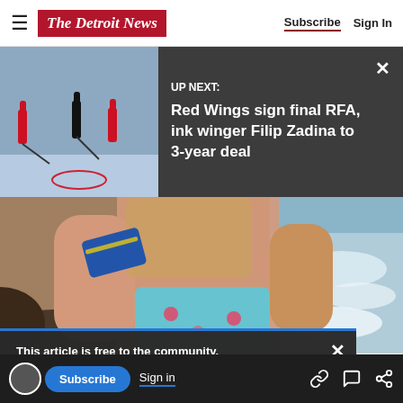The Detroit News — Subscribe | Sign In
UP NEXT: Red Wings sign final RFA, ink winger Filip Zadina to 3-year deal
[Figure (photo): Hockey game photo showing players on ice, Detroit Red Wings]
[Figure (photo): Woman in floral swimsuit at beach, Sports Illustrated style photo]
This article is free to the community.
$22 for 2 Years.
Subscribe now
Subscribe  Sign in  [link icon] [comment icon] [share icon]